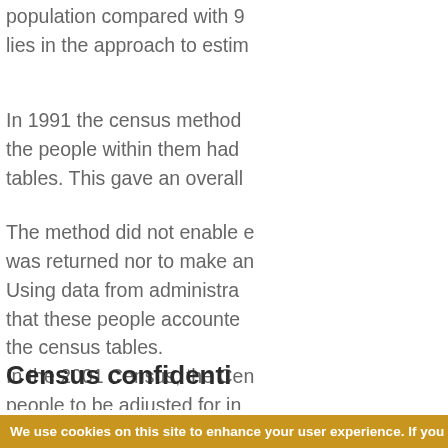population compared with 9... lies in the approach to estim...
In 1991 the census method... the people within them had... tables. This gave an overall...
The method did not enable e... was returned nor to make an... Using data from administra... that these people accounte... the census tables.
In the 2001 Census, the Cen... people to be adjusted for in... as missing and added to the...
Census confidenti...
We use cookies on this site to enhance your user experience. If you continue to